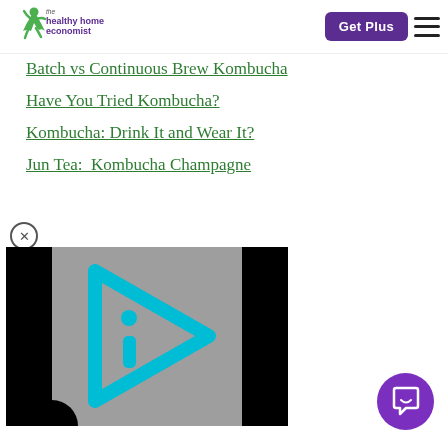the healthy home economist | Get Plus | Navigation
Batch vs Continuous Brew Kombucha
Have You Tried Kombucha?
Kombucha: Drink It and Wear It?
Jun Tea:  Kombucha Champagne
[Figure (screenshot): Video player thumbnail with gray background and cyan play button icon (stylized letter i inside a play triangle)]